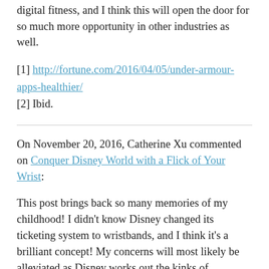digital fitness, and I think this will open the door for so much more opportunity in other industries as well.
[1] http://fortune.com/2016/04/05/under-armour-apps-healthier/
[2] Ibid.
On November 20, 2016, Catherine Xu commented on Conquer Disney World with a Flick of Your Wrist:
This post brings back so many memories of my childhood! I didn't know Disney changed its ticketing system to wristbands, and I think it's a brilliant concept! My concerns will most likely be alleviated as Disney works out the kinks of MyMagic+ and fully integrates the new product